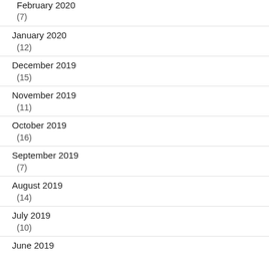February 2020
(7)
January 2020
(12)
December 2019
(15)
November 2019
(11)
October 2019
(16)
September 2019
(7)
August 2019
(14)
July 2019
(10)
June 2019